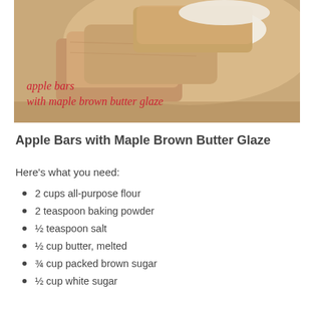[Figure (photo): Photo of apple bars with white maple brown butter glaze on top, with cursive red text overlay reading 'apple bars with maple brown butter glaze']
Apple Bars with Maple Brown Butter Glaze
Here’s what you need:
2 cups all-purpose flour
2 teaspoon baking powder
½ teaspoon salt
½ cup butter, melted
¾ cup packed brown sugar
½ cup white sugar